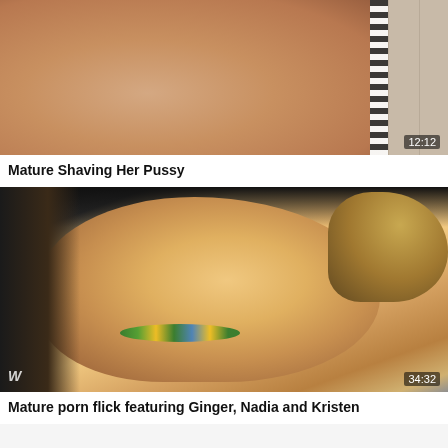[Figure (photo): Video thumbnail showing a bathroom scene with skin tones and a striped shower curtain or fixture, duration overlay 12:12]
Mature Shaving Her Pussy
[Figure (photo): Video thumbnail showing a close-up of a smiling blonde woman lying back, wearing a colorful beaded necklace, with dark background, duration overlay 34:32]
Mature porn flick featuring Ginger, Nadia and Kristen